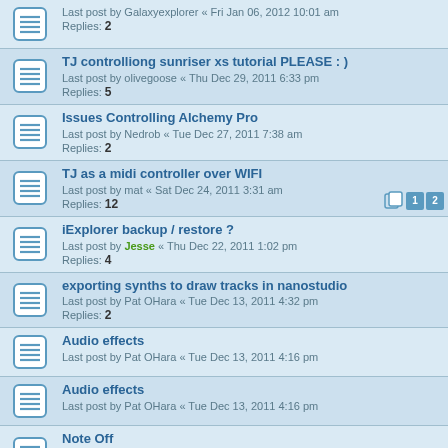Last post by Galaxyexplorer « Fri Jan 06, 2012 10:01 am
Replies: 2
TJ controlliong sunriser xs tutorial PLEASE : )
Last post by olivegoose « Thu Dec 29, 2011 6:33 pm
Replies: 5
Issues Controlling Alchemy Pro
Last post by Nedrob « Tue Dec 27, 2011 7:38 am
Replies: 2
TJ as a midi controller over WIFI
Last post by mat « Sat Dec 24, 2011 3:31 am
Replies: 12
iExplorer backup / restore ?
Last post by Jesse « Thu Dec 22, 2011 1:02 pm
Replies: 4
exporting synths to draw tracks in nanostudio
Last post by Pat OHara « Tue Dec 13, 2011 4:32 pm
Replies: 2
Audio effects
Last post by Pat OHara « Tue Dec 13, 2011 4:16 pm
Audio effects
Last post by Pat OHara « Tue Dec 13, 2011 4:16 pm
Note Off
Last post by audiosophy « Sat Dec 10, 2011 1:08 pm
Replies: 1
OSC Target Port field has no effect
Last post by Jesse « Sat Dec 10, 2011 12:05 am